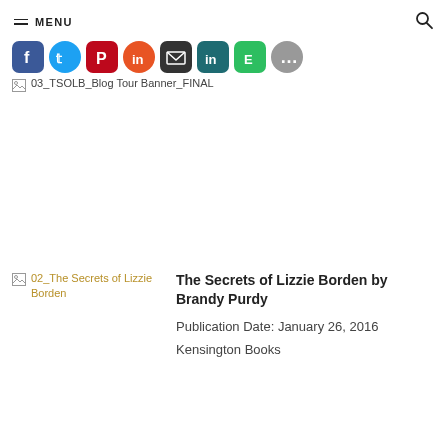MENU
[Figure (other): Social sharing icons: Facebook (blue), Twitter (blue), Pinterest (red), Reddit (orange-red), Email (dark gray), LinkedIn (dark teal), Evernote (green), More (gray)]
[Figure (other): Broken image placeholder labeled: 03_TSOLB_Blog Tour Banner_FINAL]
[Figure (other): Broken image placeholder labeled: 02_The Secrets of Lizzie Borden]
The Secrets of Lizzie Borden by Brandy Purdy
Publication Date: January 26, 2016
Kensington Books